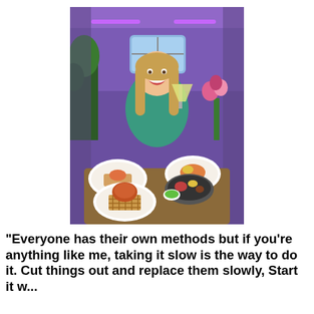[Figure (photo): A smiling woman with long blonde hair wearing a teal/green sweater sits behind a table full of colorful food dishes including waffles, bowls with various foods, and garnishes. She holds a cocktail glass in one hand. The background shows a vibrant restaurant interior with purple neon lighting, plants, flowers, and decorated walls.]
"Everyone has their own methods but if you're anything like me, taking it slow is the way to do it. Cut things out and replace them slowly, Start it w...